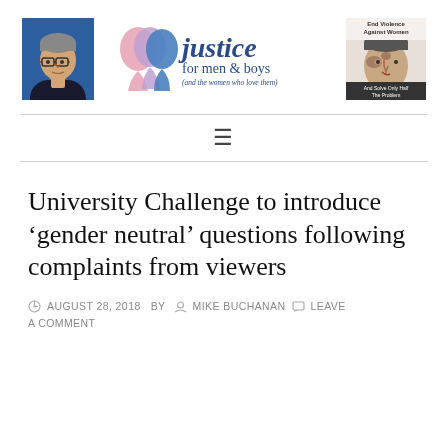[Figure (screenshot): Header with three elements: left photo of a man in glasses and dark jacket against blue background, center 'Justice for men & boys (and the women who love them)' logo with overlapping face silhouettes, right banner showing a bruised man's face with text 'End Violence Against Women And Solve Only Half The Problem']
University Challenge to introduce ‘gender neutral’ questions following complaints from viewers
AUGUST 28, 2018  BY  MIKE BUCHANAN  LEAVE A COMMENT